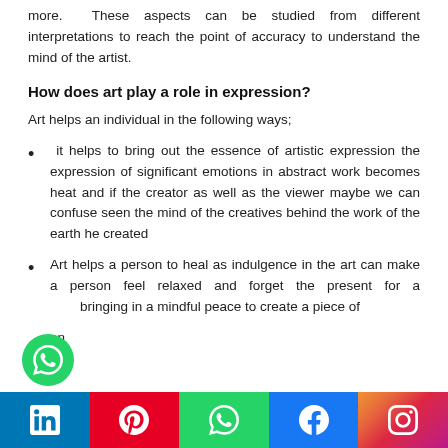more. These aspects can be studied from different interpretations to reach the point of accuracy to understand the mind of the artist.
How does art play a role in expression?
Art helps an individual in the following ways;
it helps to bring out the essence of artistic expression the expression of significant emotions in abstract work becomes heat and if the creator as well as the viewer maybe we can confuse seen the mind of the creatives behind the work of the earth he created
Art helps a person to heal as indulgence in the art can make a person feel relaxed and forget the present for a bringing in a mindful peace to create a piece of on